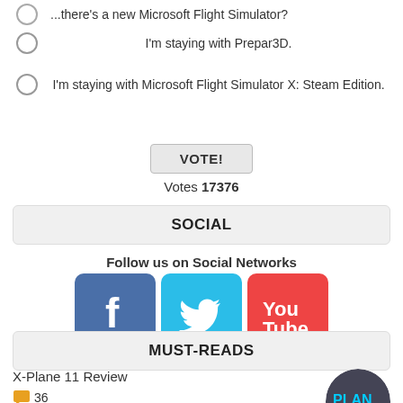...there's a new Microsoft Flight Simulator?
I'm staying with Prepar3D.
I'm staying with Microsoft Flight Simulator X: Steam Edition.
VOTE!
Votes 17376
SOCIAL
Follow us on Social Networks
[Figure (logo): Facebook, Twitter, and YouTube social media icons]
MUST-READS
X-Plane 11 Review
36
[Figure (photo): Circular thumbnail image with text PLAN]